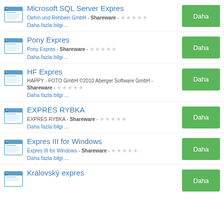Microsoft SQL Server Expres - Oehm und Rehbein GmbH - Shareware - Daha fazla bilgi ...
Pony Expres - Pony Expres - Shareware - Daha fazla bilgi ...
HF Expres - HAPPY - FOTO GmbH ©2010 Aberger Software GmbH - Shareware - Daha fazla bilgi ...
EXPRES RYBKA - EXPRES RYBKA - Shareware - Daha fazla bilgi ...
Expres III for Windows - Expres III for Windows - Shareware - Daha fazla bilgi ...
Královský expres